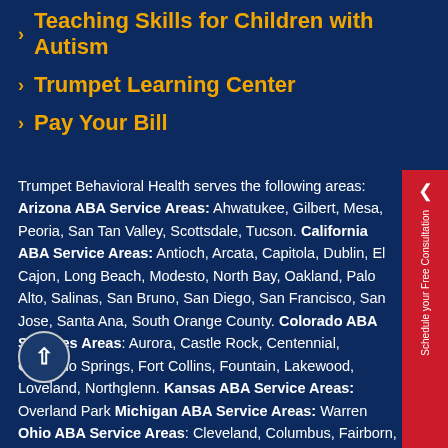Teaching Skills for Children with Autism
Trumpet Learning Center
Pay Your Bill
Trumpet Behavioral Health serves the following areas: Arizona ABA Service Areas: Ahwatukee, Gilbert, Mesa, Peoria, San Tan Valley, Scottsdale, Tucson. California ABA Service Areas: Antioch, Arcata, Capitola, Dublin, El Cajon, Long Beach, Modesto, North Bay, Oakland, Palo Alto, Salinas, San Bruno, San Diego, San Francisco, San Jose, Santa Ana, South Orange County. Colorado ABA Services Areas: Aurora, Castle Rock, Centennial, Colorado Springs, Fort Collins, Fountain, Lakewood, Loveland, Northglenn. Kansas ABA Service Areas: Overland Park Michigan ABA Service Areas: Warren Ohio ABA Service Areas: Cleveland, Columbus, Fairborn, Springfield. Texas ABA Services Areas: Austin, Cypress, Dallas, Fort Worth, Katy, Pearland.